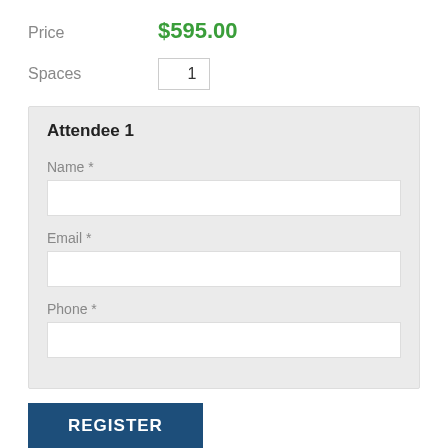Price   $595.00
Spaces   1
Attendee 1
Name *
Email *
Phone *
REGISTER